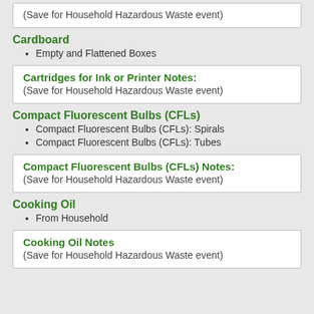(Save for Household Hazardous Waste event)
Cardboard
Empty and Flattened Boxes
Cartridges for Ink or Printer Notes: (Save for Household Hazardous Waste event)
Compact Fluorescent Bulbs (CFLs)
Compact Fluorescent Bulbs (CFLs): Spirals
Compact Fluorescent Bulbs (CFLs): Tubes
Compact Fluorescent Bulbs (CFLs) Notes: (Save for Household Hazardous Waste event)
Cooking Oil
From Household
Cooking Oil Notes (Save for Household Hazardous Waste event)